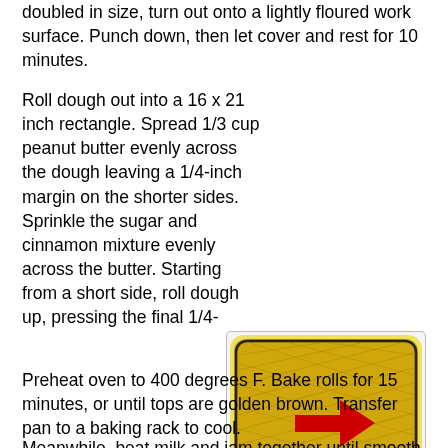doubled in size, turn out onto a lightly floured work surface. Punch down, then let cover and rest for 10 minutes.
Roll dough out into a 16 x 21 inch rectangle. Spread 1/3 cup peanut butter evenly across the dough leaving a 1/4-inch margin on the shorter sides. Sprinkle the sugar and cinnamon mixture evenly across the butter. Starting from a short side, roll dough up, pressing the final 1/4-inch margin of dough gently into the roll to seal. Cut dough with a serrated knife into 12 slices. Coat a 9 x 13 inch baking pan with cooking spray. Transfer the rolls to the pan. Cover pan with a towel and let the rolls rise until they have about doubled, 30 minutes.
[Figure (photo): Photo of rolled dough rectangle with red arrow pointing right, showing the dough spread with filling on a yellow surface with dark border.]
Preheat oven to 400 degrees F. Bake rolls for 15 minutes, or until tops are golden brown. Transfer pan to a baking rack to cool.
Meanwhile, beat milk and jam together until smooth. Slowly